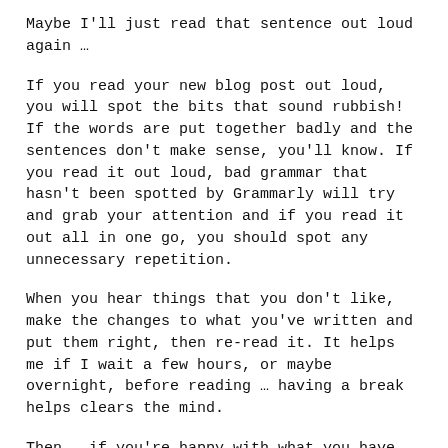Maybe I'll just read that sentence out loud again …
If you read your new blog post out loud, you will spot the bits that sound rubbish! If the words are put together badly and the sentences don't make sense, you'll know. If you read it out loud, bad grammar that hasn't been spotted by Grammarly will try and grab your attention and if you read it out all in one go, you should spot any unnecessary repetition.
When you hear things that you don't like, make the changes to what you've written and put them right, then re-read it. It helps me if I wait a few hours, or maybe overnight, before reading … having a break helps clears the mind.
Then … if you're happy with what you have written, what you have read and what you have just listened to, press the publish button.
What have we learned?